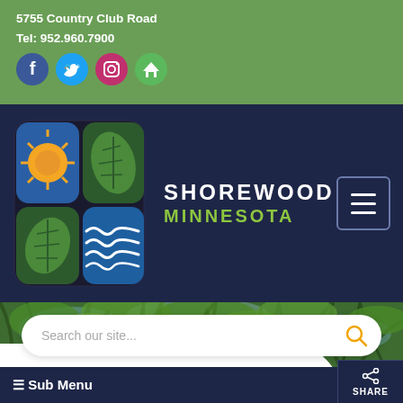5755 Country Club Road
Tel: 952.960.7900
[Figure (infographic): Row of social media icons: Facebook (blue circle), Twitter (light blue circle), Instagram (pink circle), Home (green circle)]
[Figure (logo): Shorewood Minnesota municipal logo: four-panel icon with sun (yellow on blue), leaf (green on dark), leaf (green on dark), waves (white on blue). Text: SHOREWOOD MINNESOTA]
[Figure (photo): Forest/tree canopy photograph visible as background behind search bar]
Search our site...
≡ Sub Menu